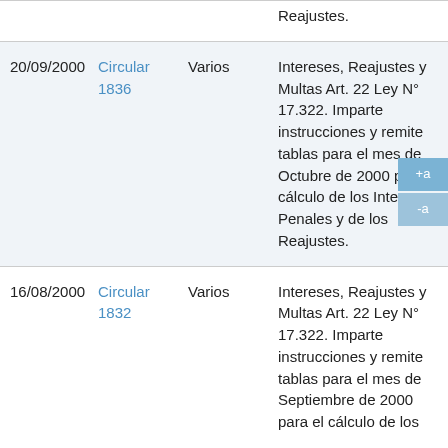| Fecha | Norma | Tema | Descripción |
| --- | --- | --- | --- |
|  |  |  | Reajustes. |
| 20/09/2000 | Circular 1836 | Varios | Intereses, Reajustes y Multas Art. 22 Ley N° 17.322. Imparte instrucciones y remite tablas para el mes de Octubre de 2000 para el cálculo de los Intereses Penales y de los Reajustes. |
| 16/08/2000 | Circular 1832 | Varios | Intereses, Reajustes y Multas Art. 22 Ley N° 17.322. Imparte instrucciones y remite tablas para el mes de Septiembre de 2000 para el cálculo de los |